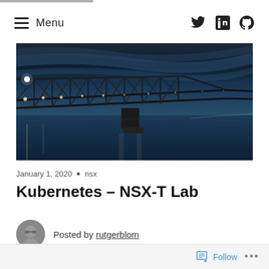Menu
[Figure (photo): Low-angle night photo of a long bridge with lights extending over water, dramatic blue-toned sky with streaked clouds]
January 1, 2020 • nsx
Kubernetes – NSX-T Lab
Posted by rutgerblom
Follow ...